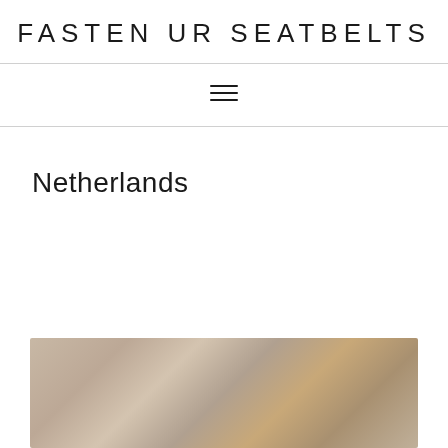FASTEN UR SEATBELTS
[Figure (other): Hamburger menu icon (three horizontal lines)]
Netherlands
[Figure (photo): Blurred outdoor photo with warm beige and brown tones, appears to show a landscape or architectural scene]